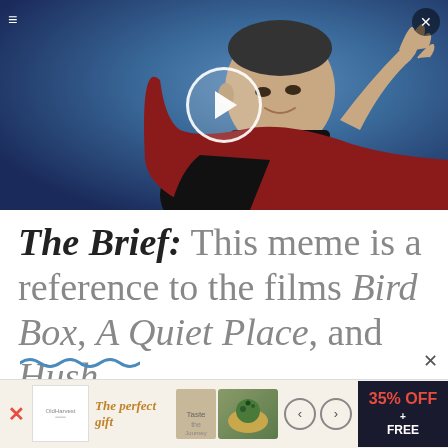[Figure (screenshot): Video thumbnail showing a man in a black shirt seated in a red chair, waving his hand, with a blue background. A white circular play button overlay is centered on the image. A menu icon is in the top-left and a close X button in the top-right.]
The Brief: This meme is a reference to the films Bird Box, A Quiet Place, and Hush.
[Figure (screenshot): Bottom advertisement bar showing a red X dismiss button on the left, an ad logo, text reading 'The perfect gift', a food image with navigation arrows, and a dark box showing '35% OFF + FREE'.]